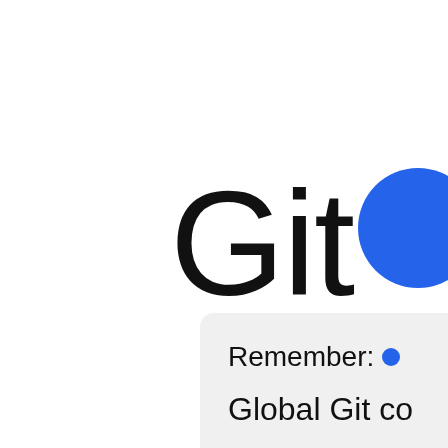Git
[Figure (illustration): Blue circle partially visible at top right, representing a UI element or logo component]
Remember:
Global Git co